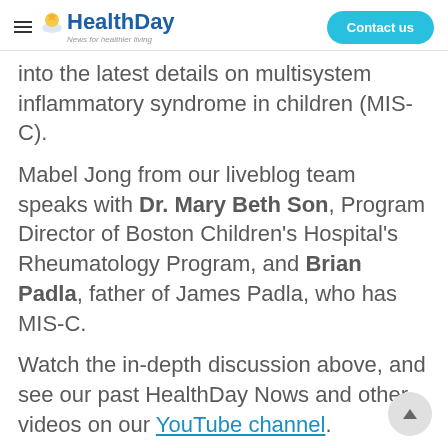HealthDay — News for healthier living | Contact us
into the latest details on multisystem inflammatory syndrome in children (MIS-C).
Mabel Jong from our liveblog team speaks with Dr. Mary Beth Son, Program Director of Boston Children's Hospital's Rheumatology Program, and Brian Padla, father of James Padla, who has MIS-C.
Watch the in-depth discussion above, and see our past HealthDay Nows and other videos on our YouTube channel.